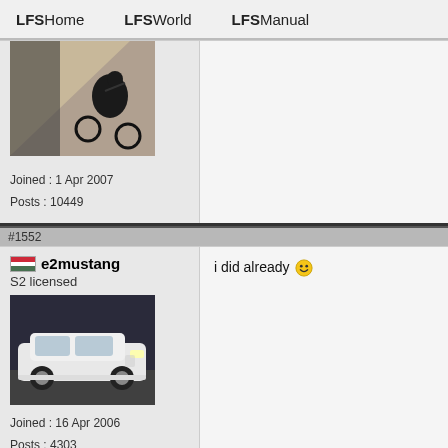LFSHome   LFSWorld   LFSManual
Joined : 1 Apr 2007
Posts : 10449
#1552
e2mustang
S2 licensed
Joined : 16 Apr 2006
Posts : 4303
i did already 🙂
#1553
Stefani24
S3 licensed
I've seen snow this year already, a bit sou